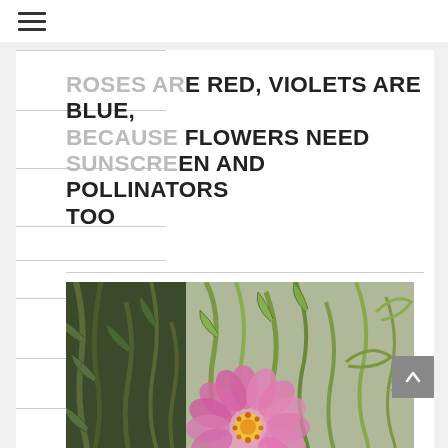≡ (hamburger menu)
ROSES ARE RED, VIOLETS ARE BLUE, BECAUSE FLOWERS NEED SUNSCREEN AND POLLINATORS TOO
[Figure (photo): Close-up photo of a pink flower with green succulent-like stems/foliage in the background]